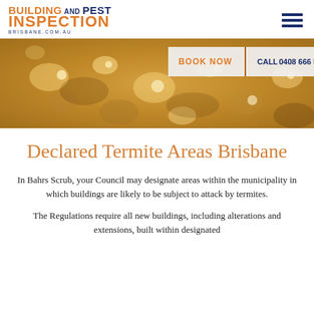BUILDING AND PEST INSPECTION BRISBANE.COM.AU
[Figure (photo): Close-up macro photo of termite-damaged wood showing golden-brown texture with bubbles and irregular surface]
Declared Termite Areas Brisbane
In Bahrs Scrub, your Council may designate areas within the municipality in which buildings are likely to be subject to attack by termites.
The Regulations require all new buildings, including alterations and extensions, built within designated termite defected areas to be constructed and built